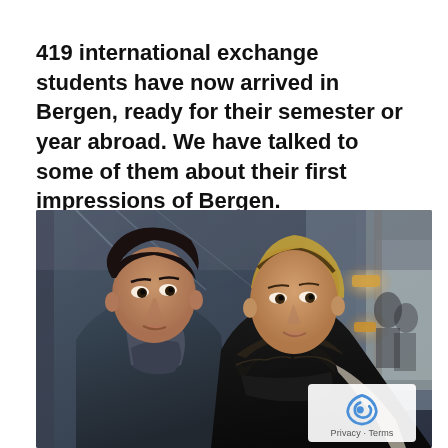419 international exchange students have now arrived in Bergen, ready for their semester or year abroad. We have talked to some of them about their first impressions of Bergen.
[Figure (photo): Two young international exchange students, a male and a female, smiling indoors in what appears to be a university building lobby. Both wearing winter jackets and scarves.]